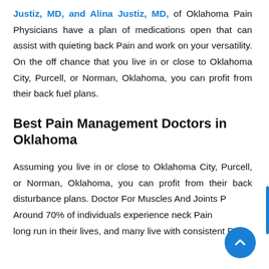Justiz, MD, and Alina Justiz, MD, of Oklahoma Pain Physicians have a plan of medications open that can assist with quieting back Pain and work on your versatility. On the off chance that you live in or close to Oklahoma City, Purcell, or Norman, Oklahoma, you can profit from their back fuel plans.
Best Pain Management Doctors in Oklahoma
Assuming you live in or close to Oklahoma City, Purcell, or Norman, Oklahoma, you can profit from their back disturbance plans. Doctor For Muscles And Joints Pain Around 70% of individuals experience neck Pain at some point long run in their lives, and many live with consistent Pain.